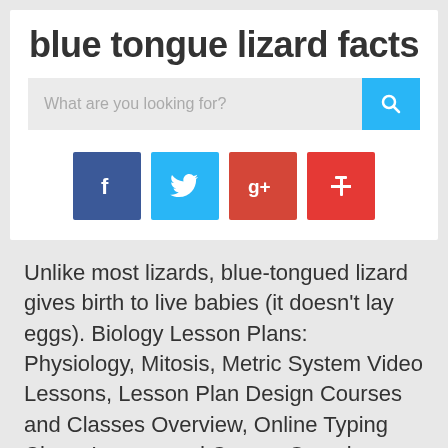blue tongue lizard facts
[Figure (screenshot): Search bar with placeholder text 'What are you looking for?' and a cyan search button with magnifying glass icon]
[Figure (infographic): Four social media icon buttons: dark blue Facebook, cyan Twitter, dark red Google+, red Google+]
Unlike most lizards, blue-tongued lizard gives birth to live babies (it doesn't lay eggs). Biology Lesson Plans: Physiology, Mitosis, Metric System Video Lessons, Lesson Plan Design Courses and Classes Overview, Online Typing Class, Lesson and Course Overviews. The blue-tongued lizard is the world's largest skink. They are easy to observe and easy to catch.Something that can't be said for many other lizards. They prefer firm ground under their feet. They